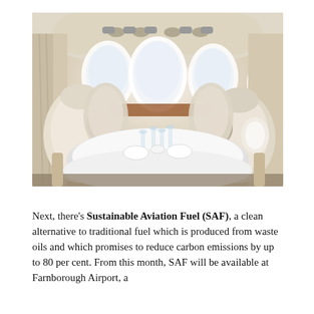[Figure (photo): Interior of a private jet cabin with white leather seats arranged around a dining table set with white linens, glassware, and pillows. Oval windows visible in the background, fisheye lens perspective.]
Next, there's Sustainable Aviation Fuel (SAF), a clean alternative to traditional fuel which is produced from waste oils and which promises to reduce carbon emissions by up to 80 per cent. From this month, SAF will be available at Farnborough Airport, a